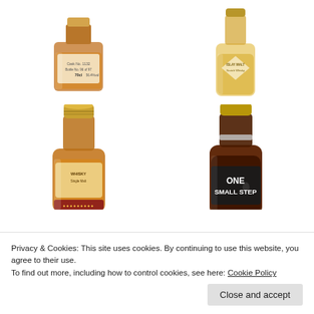[Figure (photo): Grid of whisky bottles: top-left shows a square whisky bottle with orange liquid, top-right shows a light golden whisky bottle (Islay Malt), middle-left shows a tall whisky bottle with gold cap and ornate label, middle-right shows a whisky bottle labeled 'ONE SMALL STEP' with dark liquid, bottom-left and bottom-right partially visible bottles.]
Privacy & Cookies: This site uses cookies. By continuing to use this website, you agree to their use.
To find out more, including how to control cookies, see here: Cookie Policy
Close and accept